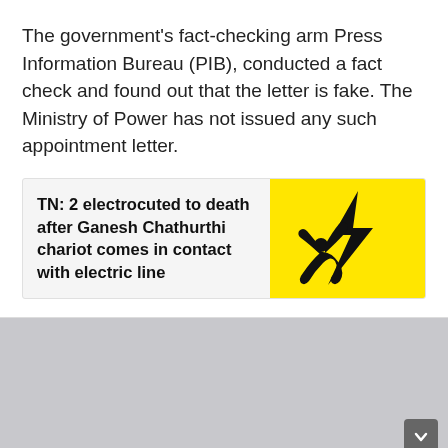The government's fact-checking arm Press Information Bureau (PIB), conducted a fact check and found out that the letter is fake. The Ministry of Power has not issued any such appointment letter.
TN: 2 electrocuted to death after Ganesh Chathurthi chariot comes in contact with electric line
[Figure (illustration): Yellow warning sign with black lightning bolt and silhouette of a person being electrocuted]